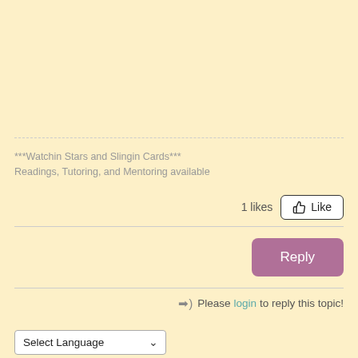***Watchin Stars and Slingin Cards***
Readings, Tutoring, and Mentoring available
1 likes  Like
Reply
➡) Please login to reply this topic!
Select Language
Powered by Google Translate